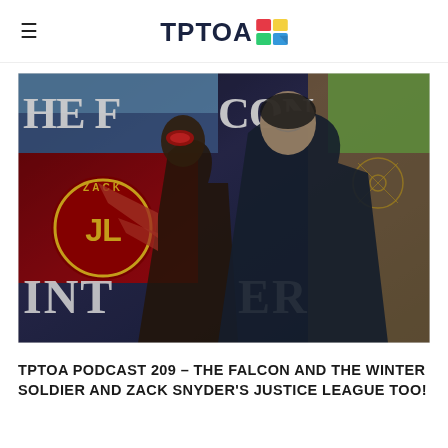≡  TPTOA
[Figure (photo): Promotional image combining The Falcon and the Winter Soldier Marvel Disney+ show with Zack Snyder's Justice League. Two male characters in superhero outfits stand back to back. Background shows Justice League branding with JL logo, and other comic/sci-fi imagery.]
TPTOA PODCAST 209 – THE FALCON AND THE WINTER SOLDIER AND ZACK SNYDER'S JUSTICE LEAGUE TOO!